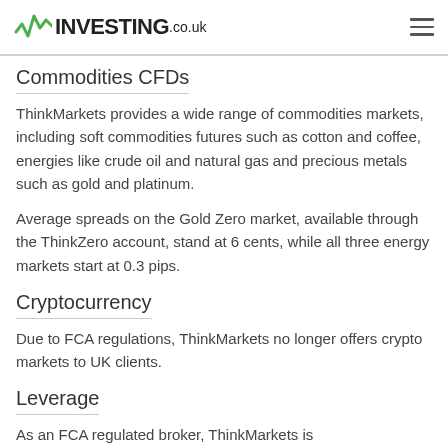INVESTING.co.uk
Commodities CFDs
ThinkMarkets provides a wide range of commodities markets, including soft commodities futures such as cotton and coffee, energies like crude oil and natural gas and precious metals such as gold and platinum.
Average spreads on the Gold Zero market, available through the ThinkZero account, stand at 6 cents, while all three energy markets start at 0.3 pips.
Cryptocurrency
Due to FCA regulations, ThinkMarkets no longer offers crypto markets to UK clients.
Leverage
As an FCA regulated broker, ThinkMarkets is